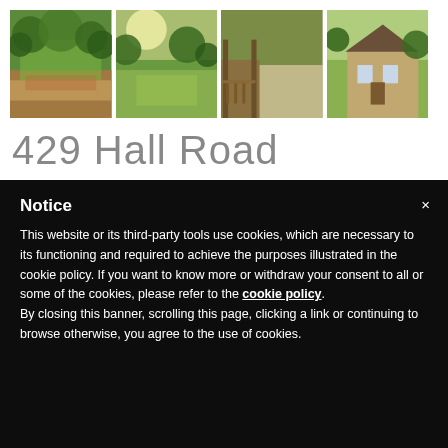[Figure (photo): Four property photos: wooded lot with cleared path, sun-lit trees/grass area, deck/patio view with pergola, house exterior with yard]
429 Hall Road
Notice
This website or its third-party tools use cookies, which are necessary to its functioning and required to achieve the purposes illustrated in the cookie policy. If you want to know more or withdraw your consent to all or some of the cookies, please refer to the cookie policy.
By closing this banner, scrolling this page, clicking a link or continuing to browse otherwise, you agree to the use of cookies.